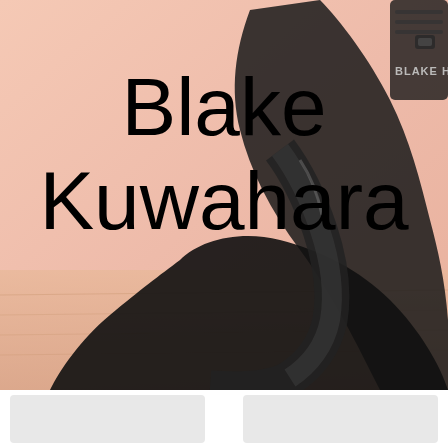[Figure (photo): Background photo showing a close-up of dark/black golf club irons with 'Blake Huw' branding visible on the club, placed on a wooden surface with warm peach/salmon toned background]
Blake Kuwahara
[Figure (photo): Two small thumbnail card images at the bottom of the page, partially visible, with light gray placeholder color]